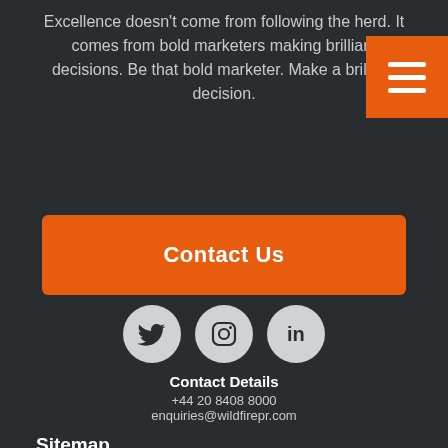Excellence doesn't come from following the herd. It comes from bold marketers making brilliant decisions. Be that bold marketer. Make a brilliant decision.
[Figure (other): Orange hamburger menu navigation button in top-right corner]
Contact Us
[Figure (other): Three social media icons (Twitter, Instagram, LinkedIn) in grey circles]
Contact Details
+44 20 8408 8000
enquiries@wildfirepr.com
Sitemap
> Home
> About